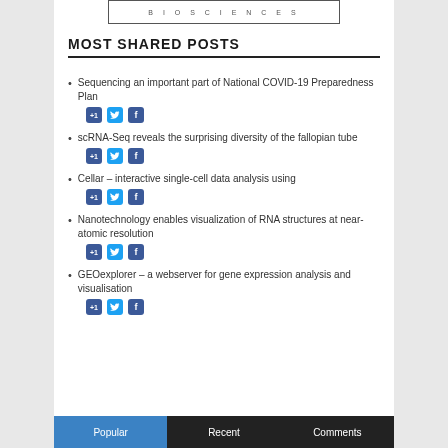BIOSCIENCES
MOST SHARED POSTS
Sequencing an important part of National COVID-19 Preparedness Plan
scRNA-Seq reveals the surprising diversity of the fallopian tube
Cellar – interactive single-cell data analysis using
Nanotechnology enables visualization of RNA structures at near-atomic resolution
GEOexplorer – a webserver for gene expression analysis and visualisation
Popular | Recent | Comments